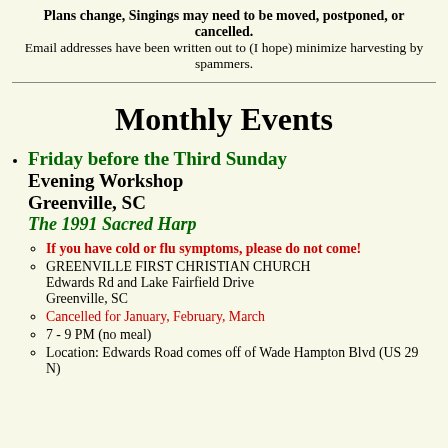Plans change, Singings may need to be moved, postponed, or cancelled. Email addresses have been written out to (I hope) minimize harvesting by spammers.
Monthly Events
Friday before the Third Sunday Evening Workshop Greenville, SC The 1991 Sacred Harp
If you have cold or flu symptoms, please do not come!
GREENVILLE FIRST CHRISTIAN CHURCH Edwards Rd and Lake Fairfield Drive Greenville, SC
Cancelled for January, February, March
7 - 9 PM (no meal)
Location: Edwards Road comes off of Wade Hampton Blvd (US 29 N)